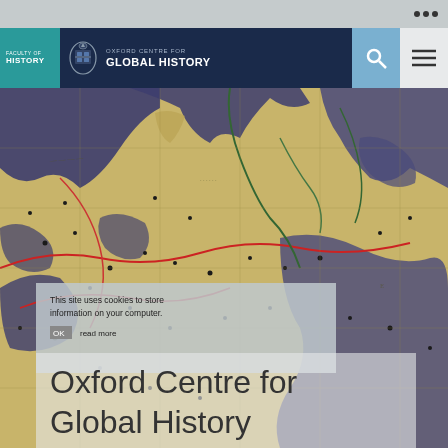...
[Figure (logo): Faculty of History teal logo with Oxford Centre for Global History text and university crest on dark navy background]
[Figure (map): Antique-style world map with yellow/ochre land masses, dark blue-purple oceans, red and green route lines, and black dot settlements — medieval or early modern cartographic style]
This site uses cookies to store information on your computer.
OK
read more
Oxford Centre for Global History